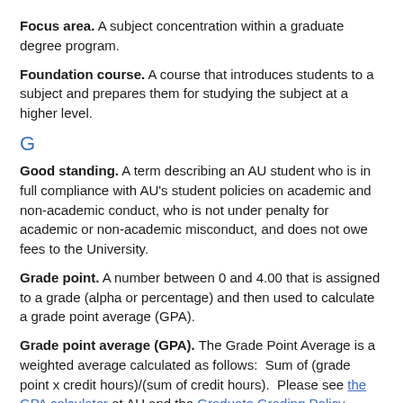Focus area. A subject concentration within a graduate degree program.
Foundation course. A course that introduces students to a subject and prepares them for studying the subject at a higher level.
G
Good standing. A term describing an AU student who is in full compliance with AU’s student policies on academic and non-academic conduct, who is not under penalty for academic or non-academic misconduct, and does not owe fees to the University.
Grade point. A number between 0 and 4.00 that is assigned to a grade (alpha or percentage) and then used to calculate a grade point average (GPA).
Grade point average (GPA). The Grade Point Average is a weighted average calculated as follows: Sum of (grade point x credit hours)/(sum of credit hours). Please see the GPA calculator at AU and the Graduate Grading Policy.